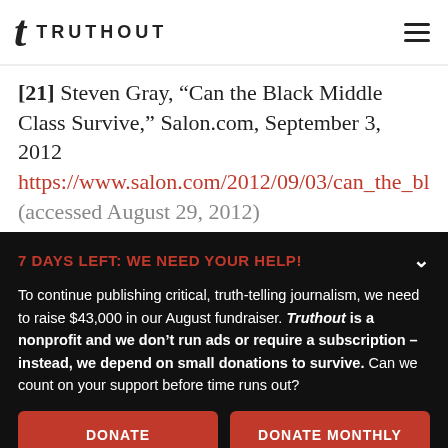TRUTHOUT
[21] Steven Gray, “Can the Black Middle Class Survive,” Salon.com, September 3, 2012 https://www.salon.com/2012/09/03/can_the_bl… (accessed August 29, 2012)
7 DAYS LEFT: WE NEED YOUR HELP!
To continue publishing critical, truth-telling journalism, we need to raise $43,000 in our August fundraiser. Truthout is a nonprofit and we don’t run ads or require a subscription – instead, we depend on small donations to survive. Can we count on your support before time runs out?
DONATE
DONATE MONTHLY